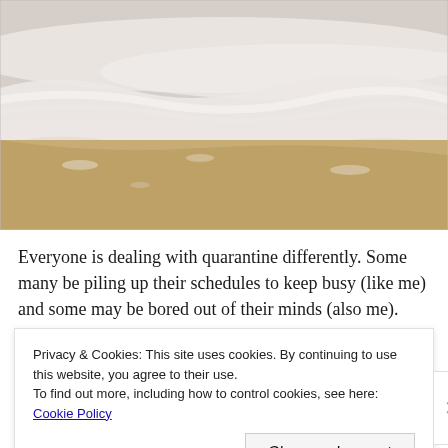[Figure (photo): Beach photo showing ocean waves with white sea foam washing over wet sandy shore. Soft, pastel tones with sandy foreground and white foam waves in upper portion.]
Everyone is dealing with quarantine differently. Some many be piling up their schedules to keep busy (like me) and some may be bored out of their minds (also me). Regardless, there are
Privacy & Cookies: This site uses cookies. By continuing to use this website, you agree to their use.
To find out more, including how to control cookies, see here: Cookie Policy
Close and accept